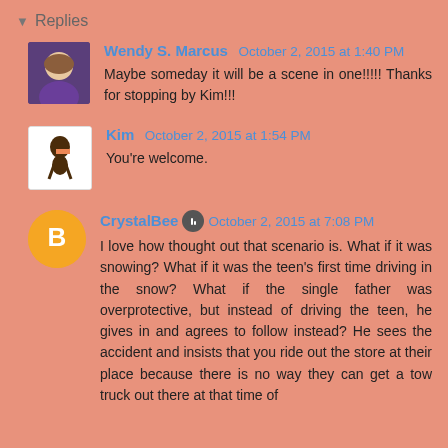Replies
Wendy S. Marcus October 2, 2015 at 1:40 PM
Maybe someday it will be a scene in one!!!!! Thanks for stopping by Kim!!!
Kim October 2, 2015 at 1:54 PM
You're welcome.
CrystalBee October 2, 2015 at 7:08 PM
I love how thought out that scenario is. What if it was snowing? What if it was the teen's first time driving in the snow? What if the single father was overprotective, but instead of driving the teen, he gives in and agrees to follow instead? He sees the accident and insists that you ride out the store at their place because there is no way they can get a tow truck out there at that time of